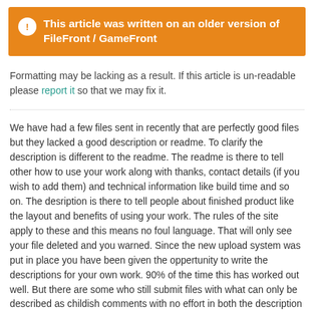This article was written on an older version of FileFront / GameFront
Formatting may be lacking as a result. If this article is un-readable please report it so that we may fix it.
We have had a few files sent in recently that are perfectly good files but they lacked a good description or readme. To clarify the description is different to the readme. The readme is there to tell other how to use your work along with thanks, contact details (if you wish to add them) and technical information like build time and so on. The desription is there to tell people about finished product like the layout and benefits of using your work. The rules of the site apply to these and this means no foul language. That will only see your file deleted and you warned. Since the new upload system was put in place you have been given the oppertunity to write the descriptions for your own work. 90% of the time this has worked out well. But there are some who still submit files with what can only be described as childish comments with no effort in both the description and readme. Again this will only delay us placing your files on the site and could see them deleted. Please think about the descriptions and readmes when sending in your files as it has got to the point